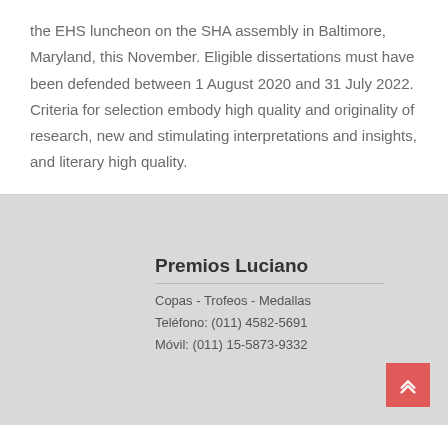the EHS luncheon on the SHA assembly in Baltimore, Maryland, this November. Eligible dissertations must have been defended between 1 August 2020 and 31 July 2022. Criteria for selection embody high quality and originality of research, new and stimulating interpretations and insights, and literary high quality.
Premios Luciano
Copas - Trofeos - Medallas
Teléfono: (011) 4582-5691
Móvil: (011) 15-5873-9332